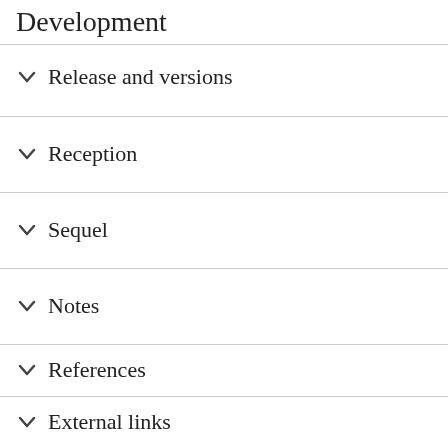Development
Release and versions
Reception
Sequel
Notes
References
External links